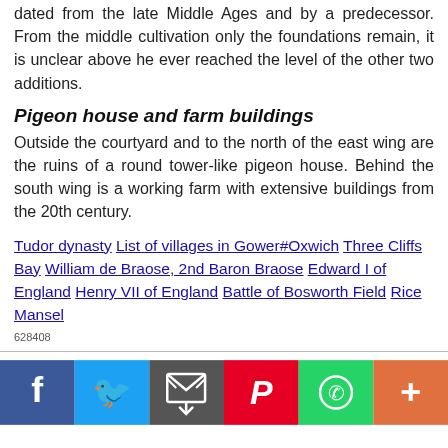dated from the late Middle Ages and by a predecessor. From the middle cultivation only the foundations remain, it is unclear above he ever reached the level of the other two additions.
Pigeon house and farm buildings
Outside the courtyard and to the north of the east wing are the ruins of a round tower-like pigeon house. Behind the south wing is a working farm with extensive buildings from the 20th century.
Tudor dynasty List of villages in Gower#Oxwich Three Cliffs Bay William de Braose, 2nd Baron Braose Edward I of England Henry VII of England Battle of Bosworth Field Rice Mansel
628408